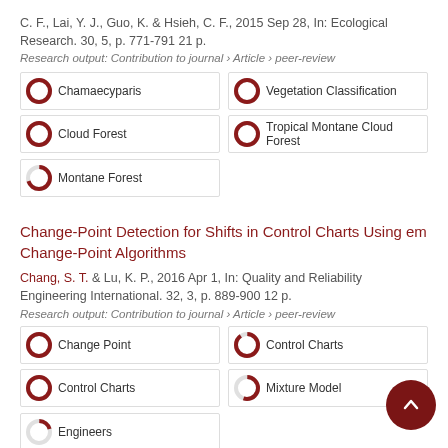C. F., Lai, Y. J., Guo, K. & Hsieh, C. F., 2015 Sep 28, In: Ecological Research. 30, 5, p. 771-791 21 p.
Research output: Contribution to journal › Article › peer-review
[Figure (infographic): Five keyword tags with donut/circle percentage icons: Chamaecyparis (100%), Vegetation Classification (100%), Cloud Forest (100%), Tropical Montane Cloud Forest (100%), Montane Forest (~70%)]
Change-Point Detection for Shifts in Control Charts Using em Change-Point Algorithms
Chang, S. T. & Lu, K. P., 2016 Apr 1, In: Quality and Reliability Engineering International. 32, 3, p. 889-900 12 p.
Research output: Contribution to journal › Article › peer-review
[Figure (infographic): Five keyword tags with donut/circle percentage icons: Change Point (100%), Control Charts (90%), Control Charts (100%), Mixture Model (~55%), Engineers (~20%)]